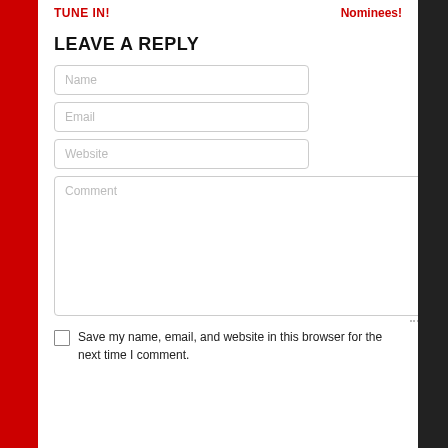TUNE IN!    Nominees!
LEAVE A REPLY
Name
Email
Website
Comment
Save my name, email, and website in this browser for the next time I comment.